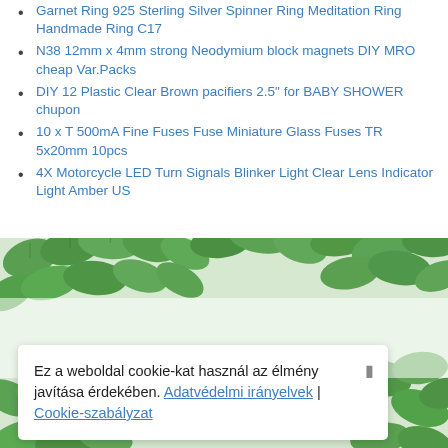Garnet Ring 925 Sterling Silver Spinner Ring Meditation Ring Handmade Ring C17
N38 12mm x 4mm strong Neodymium block magnets DIY MRO cheap Var.Packs
DIY 12 Plastic Clear Brown pacifiers 2.5" for BABY SHOWER chupon
10 x T 500mA Fine Fuses Fuse Miniature Glass Fuses TR 5x20mm 10pcs
4X Motorcycle LED Turn Signals Blinker Light Clear Lens Indicator Light Amber US
[Figure (photo): Green leafy plant branches decorating the background of the lower half of the page]
Ez a weboldal cookie-kat használ az élmény javítása érdekében. Adatvédelmi irányelvek | Cookie-szabályzat